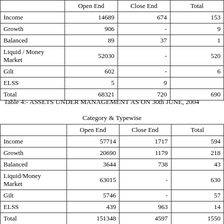|  | Open End | Close End | Total |
| --- | --- | --- | --- |
| Income | 14689 | 674 | 153... |
| Growth | 906 | - | 9... |
| Balanced | 89 | 37 | 1... |
| Liquid / Money Market | 52030 | - | 520... |
| Gilt | 602 | - | 6... |
| ELSS | 5 | 9 |  |
| Total | 68321 | 720 | 690... |
Table 4:- ASSETS UNDER MANAGEMENT AS ON 30th JUNE, 2004
Category & Typewise
|  | Open End | Close End | Total |
| --- | --- | --- | --- |
| Income | 57714 | 1717 | 594... |
| Growth | 20690 | 1179 | 218... |
| Balanced | 3644 | 738 | 43... |
| Liquid/Money Market | 63015 | - | 630... |
| Gilt | 5746 | - | 57... |
| ELSS | 439 | 963 | 14... |
| Total | 151348 | 4597 | 1550... |